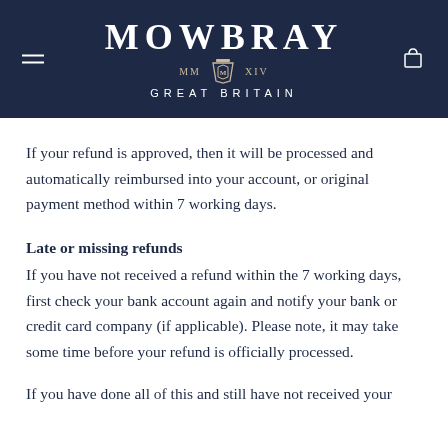MOWBRAY MM XIV GREAT BRITAIN
If your refund is approved, then it will be processed and automatically reimbursed into your account, or original payment method within 7 working days.
Late or missing refunds
If you have not received a refund within the 7 working days, first check your bank account again and notify your bank or credit card company (if applicable). Please note, it may take some time before your refund is officially processed.
If you have done all of this and still have not received your